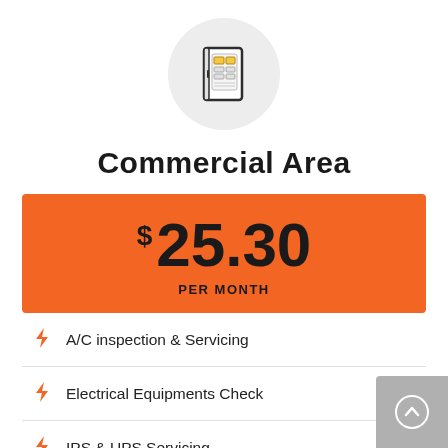[Figure (illustration): Electrical panel / circuit breaker box icon inside a light gray circle]
Commercial Area
$ 25.30 PER MONTH
A/C inspection & Servicing
Electrical Equipments Check
IPS & UPS Servicing